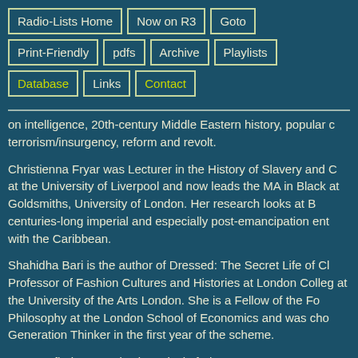Radio-Lists Home
Now on R3
Goto
Print-Friendly
pdfs
Archive
Playlists
Database
Links
Contact
on intelligence, 20th-century Middle Eastern history, popular c terrorism/insurgency, reform and revolt.
Christienna Fryar was Lecturer in the History of Slavery and C at the University of Liverpool and now leads the MA in Black at Goldsmiths, University of London. Her research looks at B centuries-long imperial and especially post-emancipation ent with the Caribbean.
Shahidha Bari is the author of Dressed: The Secret Life of Cl Professor of Fashion Cultures and Histories at London Colleg at the University of the Arts London. She is a Fellow of the Fo Philosophy at the London School of Economics and was cho Generation Thinker in the first year of the scheme.
You can find more Bristol Festival of Ideas events.